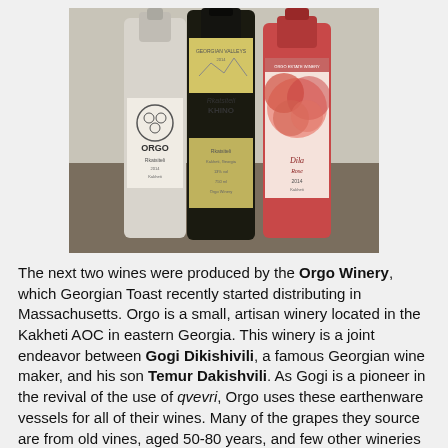[Figure (photo): Three wine bottles from Orgo Winery standing together. Left bottle has a white label with a circular design reading ORGO. Middle bottle is dark with a yellow label reading Georgian Valley Rkatsiteli. Right bottle has a red/pink label with a floral rose design.]
The next two wines were produced by the Orgo Winery, which Georgian Toast recently started distributing in Massachusetts. Orgo is a small, artisan winery located in the Kakheti AOC in eastern Georgia. This winery is a joint endeavor between Gogi Dikishivili, a famous Georgian wine maker, and his son Temur Dakishvili. As Gogi is a pioneer in the revival of the use of qvevri, Orgo uses these earthenware vessels for all of their wines. Many of the grapes they source are from old vines, aged 50-80 years, and few other wineries are able to source such grapes. When Georgia was part of the Soviet Union, many of the older vines, which notoriously are low yielding, were